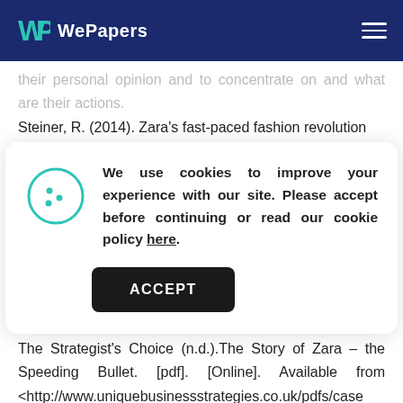WePapers
their personal opinion and to concentrate on and what are their actions.
Steiner, R. (2014). Zara's fast-paced fashion revolution
[Figure (screenshot): Cookie consent overlay with cookie icon, message 'We use cookies to improve your experience with our site. Please accept before continuing or read our cookie policy here.', and an ACCEPT button.]
It explains the crucial factors in companies' success.
The Strategist's Choice (n.d.).The Story of Zara – the Speeding Bullet. [pdf]. [Online]. Available from <http://www.uniquebusinessstrategies.co.uk/pdfs/case